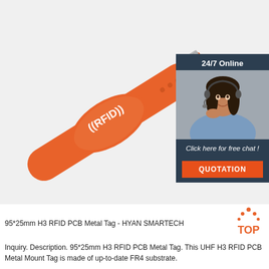[Figure (photo): Orange RFID silicone wristband with white RFID logo/text on the face, with a metal buckle clasp, shown diagonally on a light grey background.]
[Figure (infographic): 24/7 Online support widget with a customer service representative wearing a headset, dark blue/teal background, text 'Click here for free chat!' and an orange QUOTATION button.]
95*25mm H3 RFID PCB Metal Tag - HYAN SMARTECH
[Figure (logo): TOP badge logo with orange dots arranged in a triangular/arch pattern above the word TOP in orange text.]
Inquiry. Description. 95*25mm H3 RFID PCB Metal Tag. This UHF H3 RFID PCB Metal Mount Tag is made of up-to-date FR4 substrate.